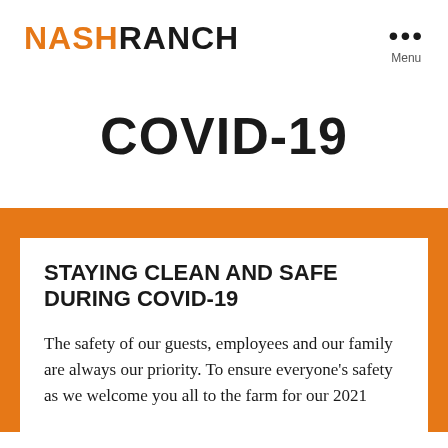NASH RANCH  ··· Menu
COVID-19
STAYING CLEAN AND SAFE DURING COVID-19
The safety of our guests, employees and our family are always our priority. To ensure everyone's safety as we welcome you all to the farm for our 2021